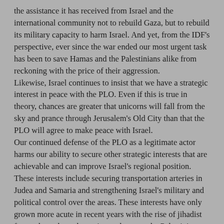the assistance it has received from Israel and the international community not to rebuild Gaza, but to rebuild its military capacity to harm Israel. And yet, from the IDF's perspective, ever since the war ended our most urgent task has been to save Hamas and the Palestinians alike from reckoning with the price of their aggression.
Likewise, Israel continues to insist that we have a strategic interest in peace with the PLO. Even if this is true in theory, chances are greater that unicorns will fall from the sky and prance through Jerusalem's Old City than that the PLO will agree to make peace with Israel.
Our continued defense of the PLO as a legitimate actor harms our ability to secure other strategic interests that are achievable and can improve Israel's regional position. These interests include securing transportation arteries in Judea and Samaria and strengthening Israel's military and political control over the areas. These interests have only grown more acute in recent years with the rise of jihadist forces throughout the region and among the Palestinians themselves.
This brings us back to McCain and his strategic wisdom. Israel must not allow the risks of action to lure us into strategic paralysis that imperils our future.